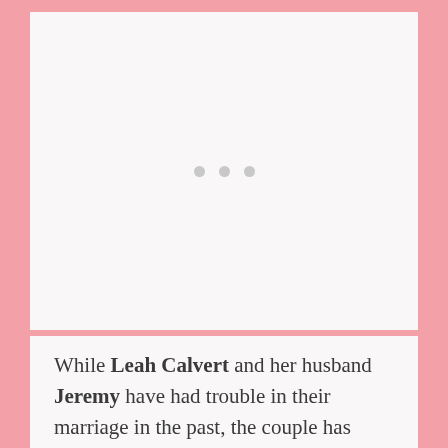[Figure (other): Large white/light gray blank image placeholder area with three small gray dots centered in the middle]
While Leah Calvert and her husband Jeremy have had trouble in their marriage in the past, the couple has insisted that they were rock solid.